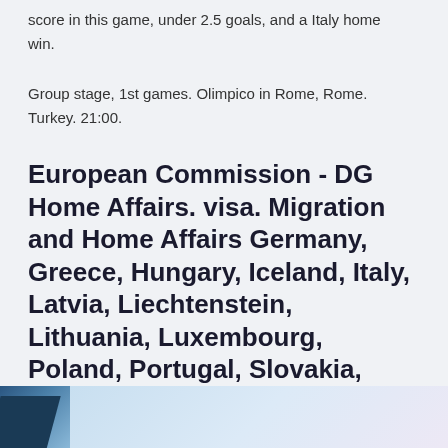score in this game, under 2.5 goals, and a Italy home win.
Group stage, 1st games. Olimpico in Rome, Rome. Turkey. 21:00.
European Commission - DG Home Affairs. visa. Migration and Home Affairs Germany, Greece, Hungary, Iceland, Italy, Latvia, Liechtenstein, Lithuania, Luxembourg, Poland, Portugal, Slovakia, Slovenia, Spain, Sweden and Switzerla
[Figure (photo): Partial photo strip at the bottom of the page showing a blue-toned image, partially visible]